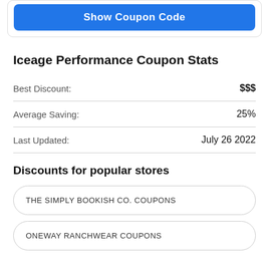Show Coupon Code
Iceage Performance Coupon Stats
| Label | Value |
| --- | --- |
| Best Discount: | $$$ |
| Average Saving: | 25% |
| Last Updated: | July 26 2022 |
Discounts for popular stores
THE SIMPLY BOOKISH CO. COUPONS
ONEWAY RANCHWEAR COUPONS